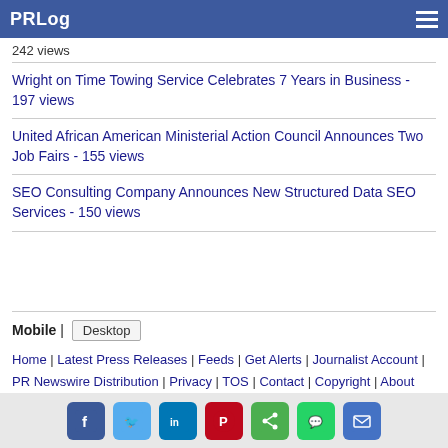PRLog
242 views
Wright on Time Towing Service Celebrates 7 Years in Business - 197 views
United African American Ministerial Action Council Announces Two Job Fairs - 155 views
SEO Consulting Company Announces New Structured Data SEO Services - 150 views
Mobile | Desktop
Home | Latest Press Releases | Feeds | Get Alerts | Journalist Account | PR Newswire Distribution | Privacy | TOS | Contact | Copyright | About
[Figure (infographic): Social media share icons: Facebook, Twitter, LinkedIn, Pinterest, Share, WhatsApp, Email]